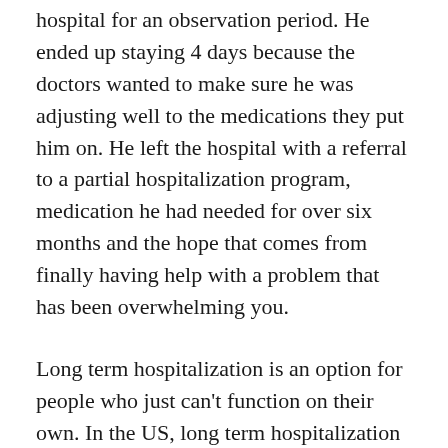hospital for an observation period. He ended up staying 4 days because the doctors wanted to make sure he was adjusting well to the medications they put him on. He left the hospital with a referral to a partial hospitalization program, medication he had needed for over six months and the hope that comes from finally having help with a problem that has been overwhelming you.
Long term hospitalization is an option for people who just can't function on their own. In the US, long term hospitalization can only be mandated if you are a threat to yourself or others. But people with severe mental illness who need help eating, taking their medications, getting dressed in the morning, etc. may admit